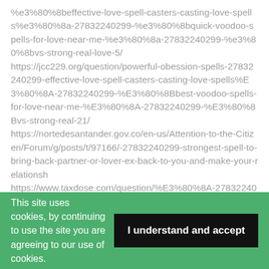%e3%80%8beffective-love-spell-casters-casting-love-spells%e3%80%8a-27832240299-%e3%80%8bquick-voodoo-spells-for-love-near-me-%e3%80%8a-27832240299-%e3%80%8bvs-strong-real-love-5/ https://jcc229.org/question/powerful-obession-spells-27832240299-effective-love-spell-casters-casting-love-spells%E3%80%8A-27832240299-%E3%80%8Bbest-voodoo-spells-for-love-near-me-%E3%80%8A-27832240299-%E3%80%8Bvs-strong-real-21/ https://nortedesantander.gov.co/en-us/Attention-to-the-Citizen/Forum/g/posts/t/97166/-27832240299-strongest-spell-to-bring-back-partner-or-lover-ex-back-to-you-and-make-your-relationsh https://www.taxdose.com/question/%E3%80%8A-27832240299-%E3%80%8Blove-spell-casters-casting-love-spells%E3%80%8A-27832240299-%E3%80%8Bvoodoo-spells-for-love-near-me-%E3%80%8A-27832240299-%E3%80%8Bvs-
This site uses cookies, by continuing to use the site you are agreeing to our use of cookies.
I understand and accept